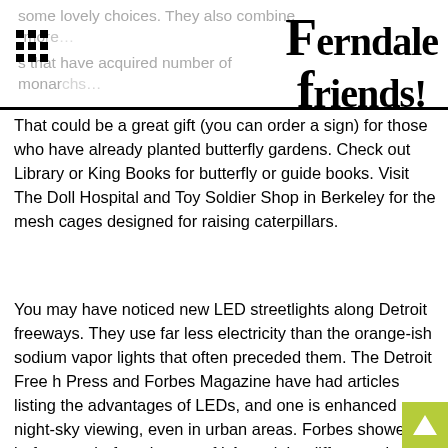Ferndale Friends!
that could be a great gift (you can order a sign) for those who have already planted butterfly gardens. Check out Library or King Books for butterfly or guide books. Visit The Doll Hospital and Toy Soldier Shop in Berkeley for the mesh cages designed for raising caterpillars.
You may have noticed new LED streetlights along Detroit freeways. They use far less electricity than the orange-ish sodium vapor lights that often preceded them. The Detroit Free h Press and Forbes Magazine have had articles listing the advantages of LEDs, and one is enhanced night-sky viewing, even in urban areas. Forbes showed before- and-after pictures of LA, and the difference is striking. Glare is reduced and the new lights have better coverings, directing light downwards. The artificial orange haze that crowned LA and our city, visible from miles away, seems all but gone. Detroiters report feeling safer. Stars blaze on a darker, bluer background. The morning sky lately has been stunning, with a crescent moon rising, Venus blazing in the east, and Jupiter and Mars nearby. Orion is often due